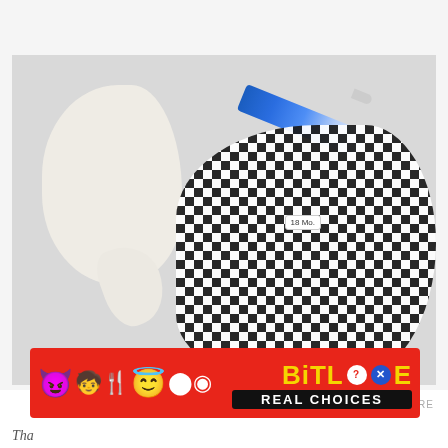[Figure (photo): Flat lay photo on a light grey/white surface showing: a crumpled white latex balloon on the left, a blue Sharpie marker in the center-top, and a black-and-white geometric patterned baby garment/clothing on the right with a size tag reading '18 Mo.' Inside the neckline. The items are arranged as craft/DIY supplies.]
[Figure (photo): Advertisement banner for BitLife mobile game with a red background. Shows cartoon emojis (purple devil, girl with knife and fork, angel face), a sperm emoji, and the BitLife logo in yellow with a question mark circle and blue X circle icon. Below reads 'REAL CHOICES' in white on black background.]
Tha